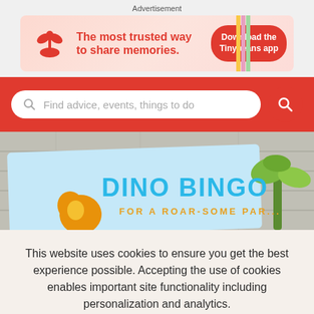Advertisement
[Figure (infographic): Tinybeans app advertisement banner. Red plant/sprout logo on left. Text: 'The most trusted way to share memories.' Button: 'Download the Tinybeans app' on red pill button.]
[Figure (screenshot): Search bar with placeholder text 'Find advice, events, things to do' on a red background with a red circular search button on the right.]
[Figure (photo): Photo of a 'Dino Bingo' card/game with blue text on light blue background, subtitle reads 'FOR A ROAR-SOME PAR...' with wooden plank background, dinosaur figure and palm leaves visible.]
This website uses cookies to ensure you get the best experience possible. Accepting the use of cookies enables important site functionality including personalization and analytics.
Accept
Decline